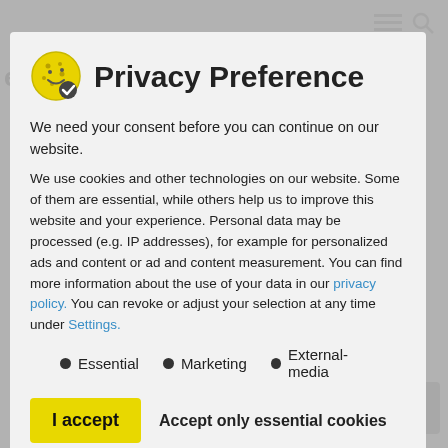[Figure (screenshot): Privacy preference cookie consent modal dialog overlaid on a webpage. Contains a cookie icon with checkmark, title 'Privacy Preference', descriptive text about cookies and data usage, links to privacy policy and settings, cookie category options (Essential, Marketing, External-media), 'I accept' yellow button, 'Accept only essential cookies' text button, and 'Individual Privacy Preferences' black button. Behind the modal, partially visible webpage content includes navigation icons, faded text headings, a bullet list item 'Apathy or even coma', and a scroll-to-top button.]
Privacy Preference
We need your consent before you can continue on our website.
We use cookies and other technologies on our website. Some of them are essential, while others help us to improve this website and your experience. Personal data may be processed (e.g. IP addresses), for example for personalized ads and content or ad and content measurement. You can find more information about the use of your data in our privacy policy. You can revoke or adjust your selection at any time under Settings.
Essential
Marketing
External-media
I accept
Accept only essential cookies
Individual Privacy Preferences
Apathy or even coma